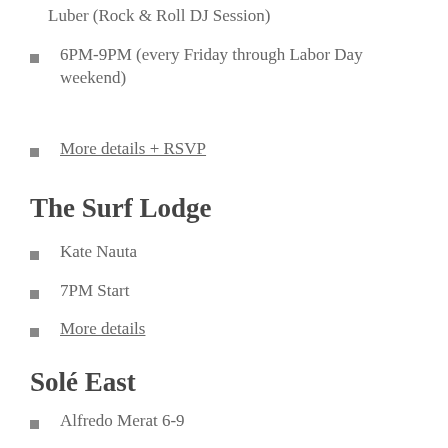Luber (Rock & Roll DJ Session)
6PM-9PM (every Friday through Labor Day weekend)
More details + RSVP
The Surf Lodge
Kate Nauta
7PM Start
More details
Solé East
Alfredo Merat 6-9
DJ Narkata 9-1am
Dinner reservations: 631-668-9739
The Gray Lady